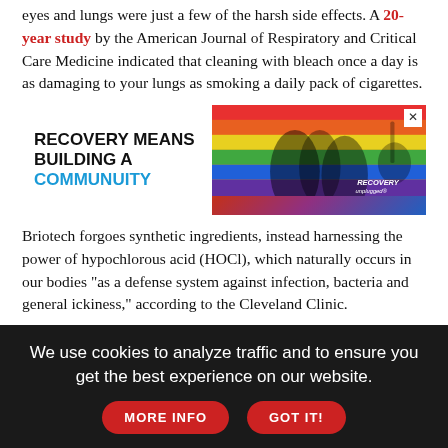eyes and lungs were just a few of the harsh side effects. A 20-year study by the American Journal of Respiratory and Critical Care Medicine indicated that cleaning with bleach once a day is as damaging to your lungs as smoking a daily pack of cigarettes.
[Figure (other): Advertisement banner: 'Recovery Means Building a Community' with rainbow pride flag image and Recovery Unplugged logo]
Briotech forgoes synthetic ingredients, instead harnessing the power of hypochlorous acid (HOCl), which naturally occurs in our bodies "as a defense system against infection, bacteria and general ickiness," according to the Cleveland Clinic.
Remarkably, HOCl is also incredibly mild. "It's great for sensitive skin," notes dermatologist Dr. Shilpi Khetarpal. "It's not going to give you the dryness, burning or irritation of other products [such as alcohol]." Because of its pH balance (which measures acidity), Briotech can be formulated for surface cleaning and air purification and topical skin products, too.
We use cookies to analyze traffic and to ensure you get the best experience on our website.